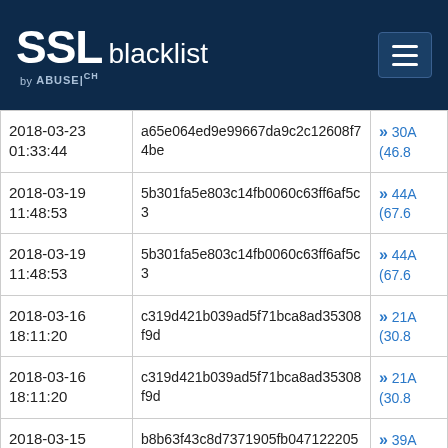SSL blacklist by ABUSE|ch
| Date | Hash | Link |
| --- | --- | --- |
| 2018-03-23 01:33:44 | a65e064ed9e99667da9c2c12608f74be | 30A... (46.8... |
| 2018-03-19 11:48:53 | 5b301fa5e803c14fb0060c63ff6af5c3 | 44A... (67.6... |
| 2018-03-19 11:48:53 | 5b301fa5e803c14fb0060c63ff6af5c3 | 44A... (67.6... |
| 2018-03-16 18:11:20 | c319d421b039ad5f71bca8ad35308f9d | 21A... (30.8... |
| 2018-03-16 18:11:20 | c319d421b039ad5f71bca8ad35308f9d | 21A... (30.8... |
| 2018-03-15 20:00:15 | b8b63f43c8d7371905fb047122205585 | 39A... (59.0... |
| 2018-03-15 | b8b63f43c8d7371905fb047122205585 | 39A... |